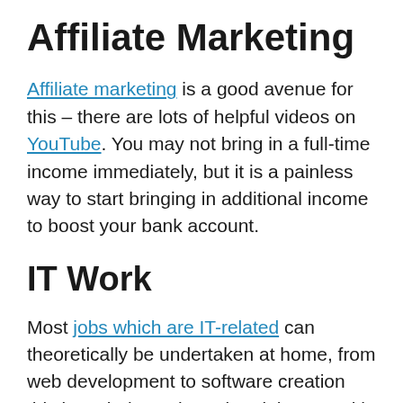Affiliate Marketing
Affiliate marketing is a good avenue for this – there are lots of helpful videos on YouTube. You may not bring in a full-time income immediately, but it is a painless way to start bringing in additional income to boost your bank account.
IT Work
Most jobs which are IT-related can theoretically be undertaken at home, from web development to software creation this is an industry booming right now with remoter workers bringing in anything from £30-£80